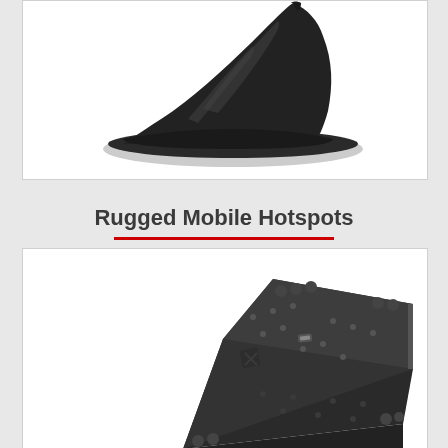[Figure (photo): Black shark-fin style vehicle antenna product photo on white background]
Rugged Mobile Hotspots
[Figure (photo): Black rugged protective case/hotspot device shown open at an angle, on white background]